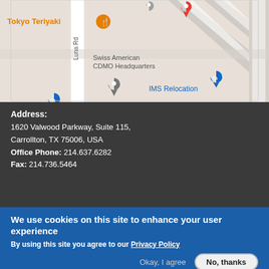[Figure (map): Google Maps screenshot showing Swiss American CDMO Headquarters location in Carrollton TX, with nearby labels: Tokyo Teriyaki, IMS Relocation, Luna Rd street label, and map pins.]
Address:
1620 Valwood Parkway, Suite 115,
Carrollton, TX 75006, USA
Office Phone: 214.637.6282
Fax: 214.736.5464
We use cookies on this site to enhance your user experience
By using this site you agree to our Privacy Policy
Okay, I agree   No, thanks